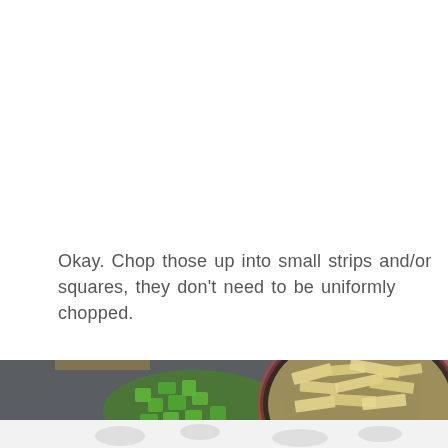Okay. Chop those up into small strips and/or squares, they don't need to be uniformly chopped.
[Figure (photo): Two photos: left shows chopped green bell pepper pieces on a dark cutting board; right shows a bowl filled with tortilla chip strips. Below is a partially visible second photo showing chopped onions on a surface.]